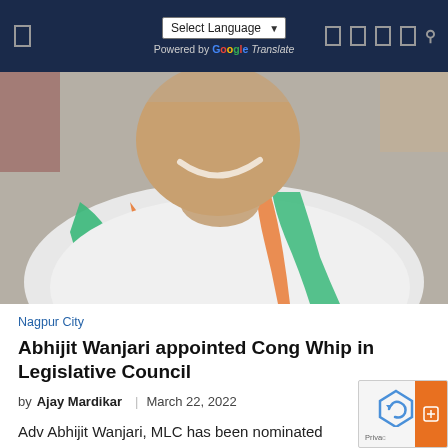Select Language | Powered by Google Translate
[Figure (photo): Photo of Abhijit Wanjari, a smiling man wearing a white kurta with a green and orange sash/scarf around his neck, likely an Indian National Congress party sash]
Nagpur City
Abhijit Wanjari appointed Cong Whip in Legislative Council
by Ajay Mardikar | March 22, 2022
Adv Abhijit Wanjari, MLC has been nominated Whip Congress party in the Legislative Council. The...